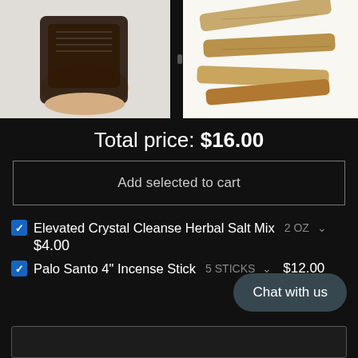[Figure (photo): Left product photo: a hand holding a black mesh bag containing crystal cleanse herbal salt mix, with printed label visible]
[Figure (photo): Right product photo: several light brown Palo Santo wood sticks arranged diagonally on a white background]
Total price: $16.00
Add selected to cart
Elevated Crystal Cleanse Herbal Salt Mix  2 OZ  ▾
$4.00
Palo Santo 4" Incense Stick  5 STICKS ▾  $12.00
Chat with us